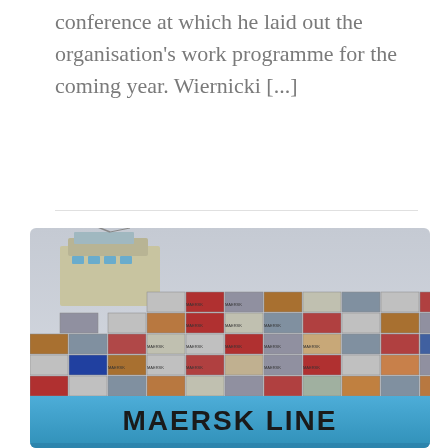conference at which he laid out the organisation's work programme for the coming year. Wiernicki [...]
[Figure (photo): A large Maersk Line container ship loaded with stacked shipping containers in various colors (blue, red, grey, brown). The ship's blue hull prominently displays 'MAERSK LINE' in large black letters. The ship's superstructure/bridge is visible at the upper left. Containers are stacked many layers high across the deck.]